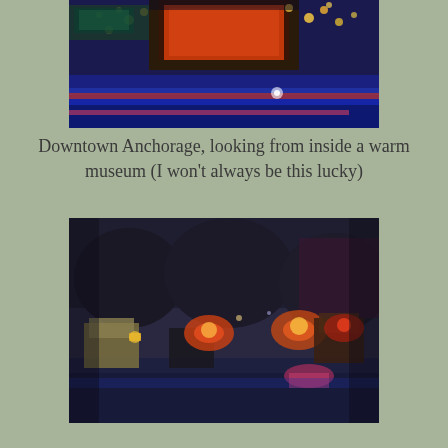[Figure (illustration): Painting of downtown Anchorage at night viewed from inside a warm museum, showing colorful lights, blues and reds with bokeh-like dots of yellow and orange light against dark blue background]
Downtown Anchorage, looking from inside a warm museum (I won't always be this lucky)
[Figure (illustration): Painting of a dark outdoor night scene with vehicles and glowing lights in orange, yellow, and red against a dark blue-purple background, blurry impressionistic style]